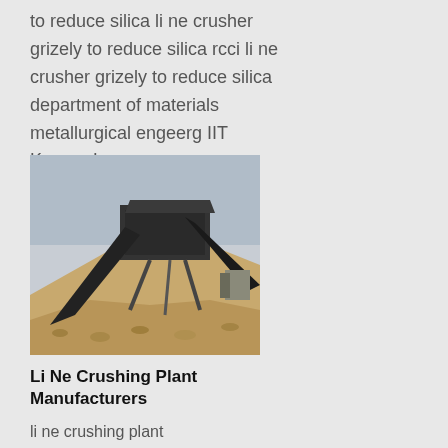to reduce silica li ne crusher grizely to reduce silica rcci li ne crusher grizely to reduce silica department of materials metallurgical engeerg IIT Kanpur Lower more
[Figure (photo): Industrial crushing and screening plant with conveyor belts and stone aggregate pile outdoors]
Li Ne Crushing Plant Manufacturers
li ne crushing plant